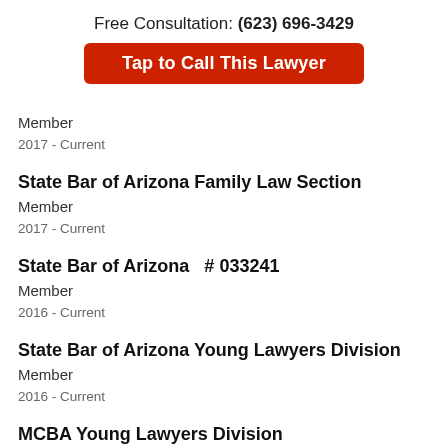Free Consultation: (623) 696-3429
[Figure (other): Red button: Tap to Call This Lawyer]
Member
2017 - Current
State Bar of Arizona Family Law Section
Member
2017 - Current
State Bar of Arizona  # 033241
Member
2016 - Current
State Bar of Arizona Young Lawyers Division
Member
2016 - Current
MCBA Young Lawyers Division
Member
2016 - Current